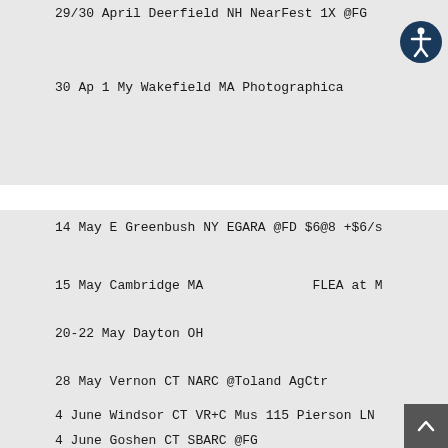29/30 April Deerfield NH NearFest 1X @FG
30 Ap 1 My Wakefield MA Photographica
14 May E Greenbush NY EGARA @FD $6@8 +$6/s
15 May Cambridge MA                    FLEA at M
20-22 May Dayton OH
28 May Vernon CT NARC @Toland AgCtr
4 June Windsor CT VR+C Mus 115 Pierson LN
4 June Goshen CT SBARC @FG